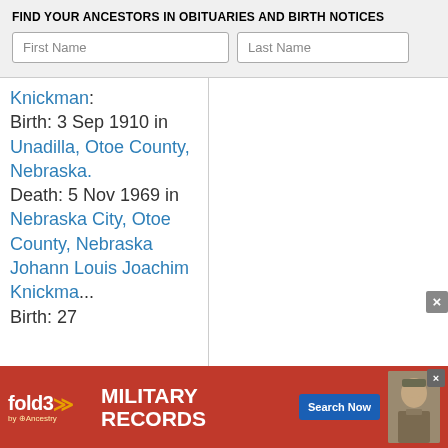FIND YOUR ANCESTORS IN OBITUARIES AND BIRTH NOTICES
Knickman: Birth: 3 Sep 1910 in Unadilla, Otoe County, Nebraska. Death: 5 Nov 1969 in Nebraska City, Otoe County, Nebraska Johann Louis Joachim Knickman Birth: 27...
[Figure (infographic): Fold3 Military Records advertisement banner with red background, Fold3 logo with chevrons, 'MILITARY RECORDS' text, Search Now button, and a soldier photo]